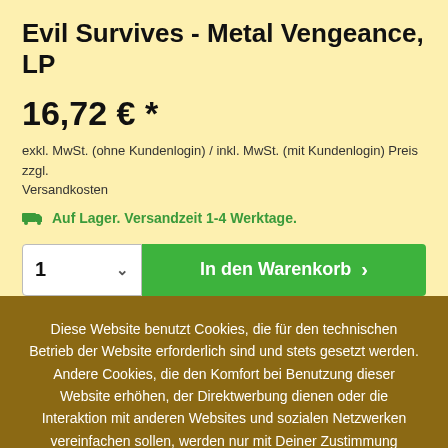Evil Survives - Metal Vengeance, LP
16,72 € *
exkl. MwSt. (ohne Kundenlogin) / inkl. MwSt. (mit Kundenlogin) Preis zzgl. Versandkosten
Auf Lager. Versandzeit 1-4 Werktage.
1  ∨   In den Warenkorb  ›
Diese Website benutzt Cookies, die für den technischen Betrieb der Website erforderlich sind und stets gesetzt werden. Andere Cookies, die den Komfort bei Benutzung dieser Website erhöhen, der Direktwerbung dienen oder die Interaktion mit anderen Websites und sozialen Netzwerken vereinfachen sollen, werden nur mit Deiner Zustimmung gesetzt.
Mehr Informationen
Ablehnen
Konfigurieren